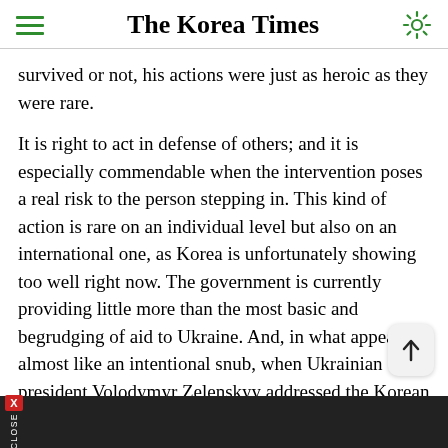The Korea Times
survived or not, his actions were just as heroic as they were rare.
It is right to act in defense of others; and it is especially commendable when the intervention poses a real risk to the person stepping in. This kind of action is rare on an individual level but also on an international one, as Korea is unfortunately showing too well right now. The government is currently providing little more than the most basic and begrudging of aid to Ukraine. And, in what appears almost like an intentional snub, when Ukrainian president Volodymyr Zelenskyy addressed the Korean parliament virtually this past week, it was only